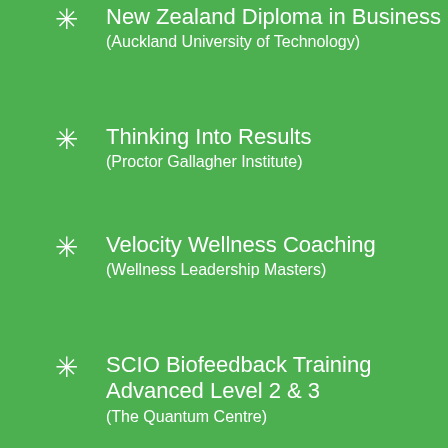New Zealand Diploma in Business (Auckland University of Technology)
Thinking Into Results (Proctor Gallagher Institute)
Velocity Wellness Coaching (Wellness Leadership Masters)
SCIO Biofeedback Training Advanced Level 2 & 3 (The Quantum Centre)
SCIO Biofeedback Training Introductory Level 1 (The Quantum Centre)
Quantum Biofeedback Beginners